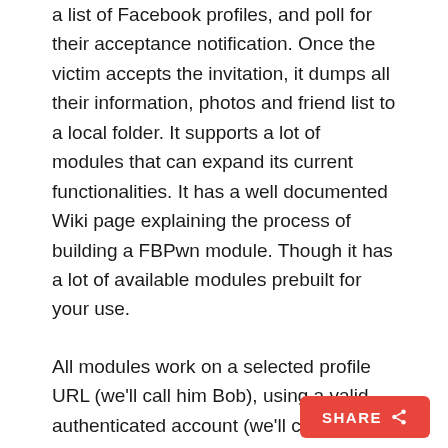a list of Facebook profiles, and poll for their acceptance notification. Once the victim accepts the invitation, it dumps all their information, photos and friend list to a local folder. It supports a lot of modules that can expand its current functionalities. It has a well documented Wiki page explaining the process of building a FBPwn module. Though it has a lot of available modules prebuilt for your use.
All modules work on a selected profile URL (we'll call him Bob), using a valid authenticated account (we'll call him Mallory).
AddVictimFriends: Request to add some or all friends of Bob to increase the chance of Bob accepting any future requests, after he finds that you have commo